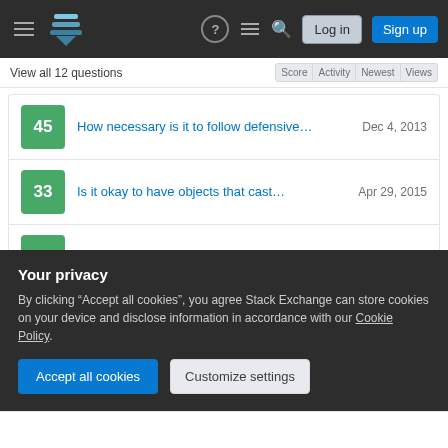Stack Exchange navigation bar with Log in and Sign up buttons
View all 12 questions
45 — How necessary is it to follow defensive… — Dec 4, 2013
33 — Is it okay to have objects that cast… — Apr 29, 2015
17 — Is it okay to go against all-caps naming for… — May 19, 2015
16 — How to make a datatype for something that… — Sep 24, 2015
Your privacy
By clicking "Accept all cookies", you agree Stack Exchange can store cookies on your device and disclose information in accordance with our Cookie Policy.
Accept all cookies | Customize settings